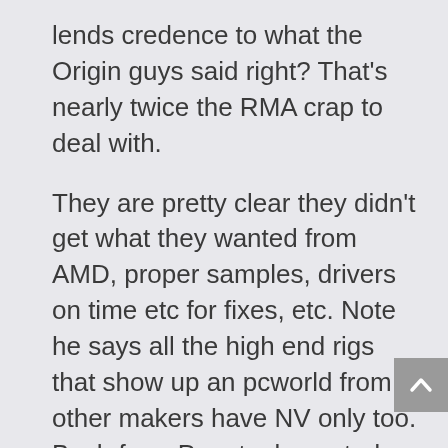lends credence to what the Origin guys said right? That's nearly twice the RMA crap to deal with.
They are pretty clear they didn't get what they wanted from AMD, proper samples, drivers on time etc for fixes, etc. Note he says all the high end rigs that show up an pcworld from other makers have NV only too. Bach from Puget, also noted the support and marketing help from NV was superior. So two vendors saying reasons to dump, validating Origin at least to some degree. Failures and support, drivers, all